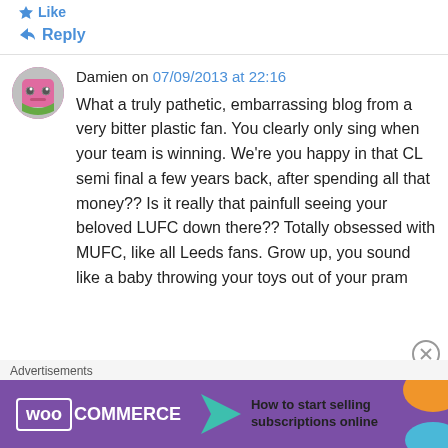Like
Reply
Damien on 07/09/2013 at 22:16
What a truly pathetic, embarrassing blog from a very bitter plastic fan. You clearly only sing when your team is winning. We're you happy in that CL semi final a few years back, after spending all that money?? Is it really that painfull seeing your beloved LUFC down there?? Totally obsessed with MUFC, like all Leeds fans. Grow up, you sound like a baby throwing your toys out of your pram
Advertisements
[Figure (logo): WooCommerce advertisement banner with text: How to start selling subscriptions online]